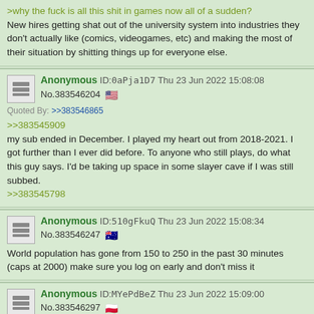>why the fuck is all this shit in games now all of a sudden?
New hires getting shat out of the university system into industries they don't actually like (comics, videogames, etc) and making the most of their situation by shitting things up for everyone else.
Anonymous ID:0aPja1D7 Thu 23 Jun 2022 15:08:08 No.383546204 [US flag]
Quoted By: >>383546865
>>383545909
my sub ended in December. I played my heart out from 2018-2021. I got further than I ever did before. To anyone who still plays, do what this guy says. I'd be taking up space in some slayer cave if I was still subbed.
>>383545798
Anonymous ID:510gFkuQ Thu 23 Jun 2022 15:08:34 No.383546247 [AU flag]
World population has gone from 150 to 250 in the past 30 minutes (caps at 2000) make sure you log on early and don't miss it
Anonymous ID:MYePdBeZ Thu 23 Jun 2022 15:09:00 No.383546297 [PL flag]
Quoted By: >>383546436
>>383545858
Why they banned you did you actually break a rule or do they just ban